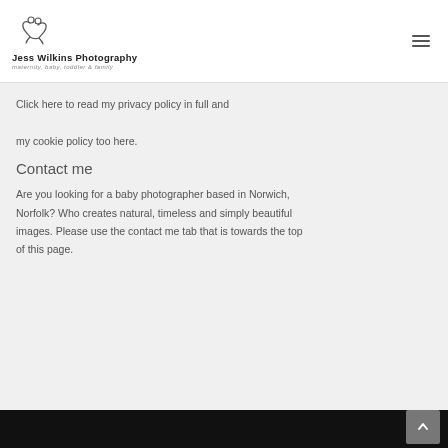Jess Wilkins Photography — maternity, baby, toddler & family
Click here to read my privacy policy in full and my cookie policy too here.
Contact me
Are you looking for a baby photographer based in Norwich, Norfolk? Who creates natural, timeless and simply beautiful images. Please use the contact me tab that is towards the top of this page.